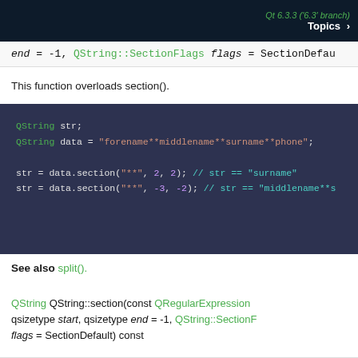Qt 6.3.3 ('6.3' branch)  Topics >
end = -1, QString::SectionFlags flags = SectionDefau
This function overloads section().
[Figure (screenshot): Code block showing QString usage: QString str; QString data = "forename**middlename**surname**phone"; str = data.section("**", 2, 2); // str == "surname" str = data.section("**", -3, -2); // str == "middlename**s]
See also split().
QString QString::section(const QRegularExpression qsizetype start, qsizetype end = -1, QString::SectionF flags = SectionDefault) const